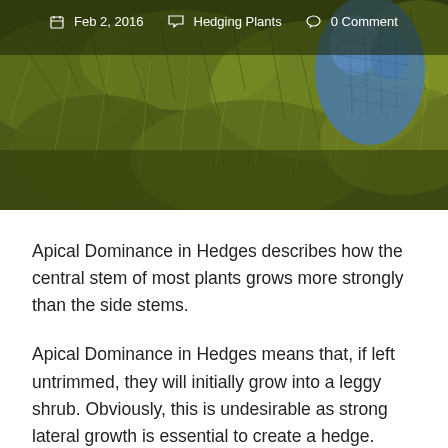[Figure (photo): Close-up photo of green hedge/conifer foliage with a gloved hand visible at upper right, with dark olive-green tones throughout]
Feb 2, 2016   Hedging Plants   0 Comment
Apical Dominance in Hedges describes how the central stem of most plants grows more strongly than the side stems.
Apical Dominance in Hedges means that, if left untrimmed, they will initially grow into a leggy shrub. Obviously, this is undesirable as strong lateral growth is essential to create a hedge. However, it is both natural and, from the plant's perspective, desirable. Hedging